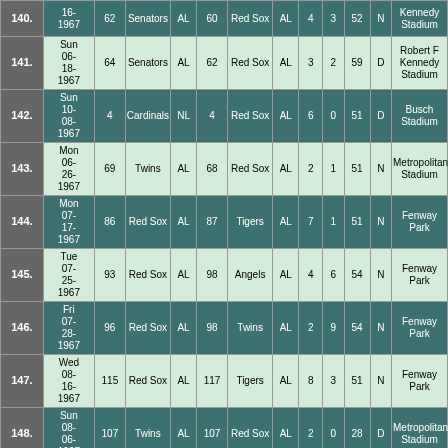| # | Date |  | Team1 | Lg |  | Team2 | Lg | R1 | R2 | Att | D/N | Stadium |
| --- | --- | --- | --- | --- | --- | --- | --- | --- | --- | --- | --- | --- |
| 140. | 16-1967 | 62 | Senators | AL | 60 | Red Sox | AL | 4 | 3 | 52 | N | Kennedy Stadium |
| 141. | Sun 06-18-1967 | 64 | Senators | AL | 62 | Red Sox | AL | 3 | 2 | 59 | D | Robert F Kennedy Stadium |
| 142. | Sun 10-08-1967 | 4 | Cardinals | NL | 4 | Red Sox | AL | 6 | 0 | 51 | D | Busch Stadium |
| 143. | Mon 06-26-1967 | 69 | Twins | AL | 68 | Red Sox | AL | 2 | 1 | 51 | N | Metropolitan Stadium |
| 144. | Mon 07-17-1967 | 86 | Red Sox | AL | 87 | Tigers | AL | 7 | 1 | 51 | N | Fenway Park |
| 145. | Tue 07-25-1967 | 93 | Red Sox | AL | 98 | Angels | AL | 4 | 6 | 54 | N | Fenway Park |
| 146. | Fri 07-28-1967 | 96 | Red Sox | AL | 98 | Twins | AL | 2 | 9 | 54 | N | Fenway Park |
| 147. | Wed 08-16-1967 | 115 | Red Sox | AL | 117 | Tigers | AL | 8 | 3 | 51 | N | Fenway Park |
| 148. | Sun 08-06-1967 | 107 | Twins | AL | 107 | Red Sox | AL | 2 | 0 | 28 | D | Metropolitan Stadium |
|  | Wed |  |  |  |  |  |  |  |  |  |  |  |